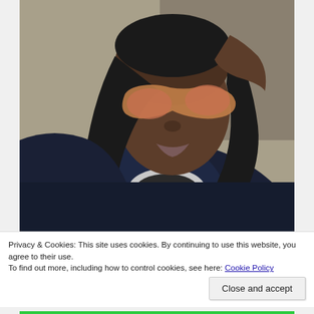[Figure (photo): A person wearing large orange-tinted sunglasses and a dark navy blue jacket or coat with a striped turtleneck underneath. The person has long dark hair and is touching their glasses with one hand. Photo appears to be a social media selfie.]
Privacy & Cookies: This site uses cookies. By continuing to use this website, you agree to their use.
To find out more, including how to control cookies, see here: Cookie Policy